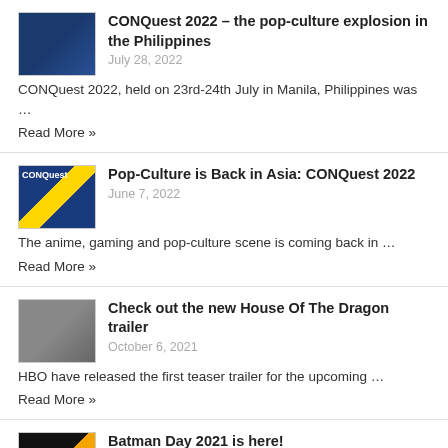[Figure (photo): Thumbnail image for CONQuest 2022 Philippines article]
CONQuest 2022 – the pop-culture explosion in the Philippines
July 28, 2022
CONQuest 2022, held on 23rd-24th July in Manila, Philippines was …
Read More »
[Figure (photo): Thumbnail image for Pop-Culture is Back in Asia: CONQuest 2022 article]
Pop-Culture is Back in Asia: CONQuest 2022
June 7, 2022
The anime, gaming and pop-culture scene is coming back in …
Read More »
[Figure (photo): Thumbnail image for House Of The Dragon trailer article]
Check out the new House Of The Dragon trailer
October 6, 2021
HBO have released the first teaser trailer for the upcoming …
Read More »
[Figure (photo): Thumbnail image for Batman Day 2021 article]
Batman Day 2021 is here!
September 18, 2021
Since 2015, the third Saturday of September has been designated
…Read More »